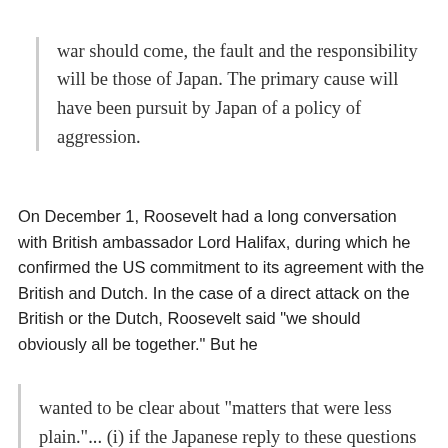war should come, the fault and the responsibility will be those of Japan. The primary cause will have been pursuit by Japan of a policy of aggression.
On December 1, Roosevelt had a long conversation with British ambassador Lord Halifax, during which he confirmed the US commitment to its agreement with the British and Dutch. In the case of a direct attack on the British or the Dutch, Roosevelt said "we should obviously all be together." But he
wanted to be clear about "matters that were less plain."... (i) if the Japanese reply to these questions [about where the Japanese troops were going, and if to Indo-China, for what